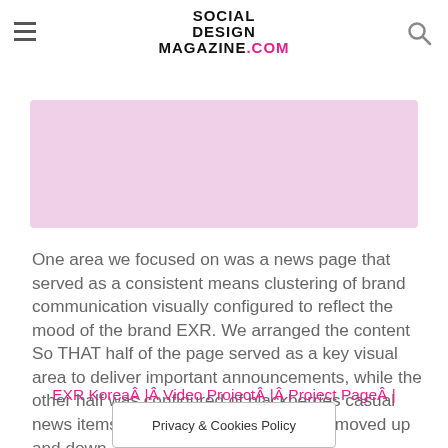Social Design Magazine .com
[Figure (other): Pink/lavender banner advertisement block]
One area we focused on was a news page that served as a consistent means clustering of brand communication visually configured to reflect the mood of the brand EXR. We arranged the content So THAT half of the page served as a key visual area to deliver important announcements, while the other half was configured of blackberries casual news items using static thumbnails that moved up and down.
EXR KoreaÂ |Â Video ProjectÂ |Â Project PageÂ | Â designfever
Privacy & Cookies Policy